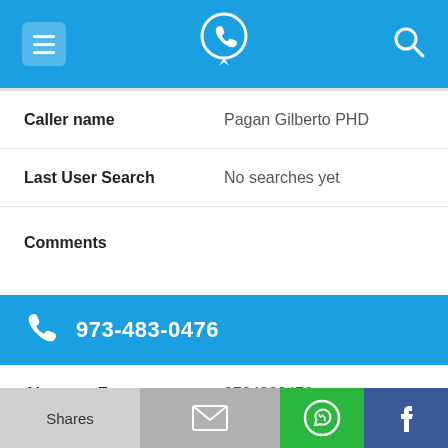Navigation bar with menu, phone locator logo, and search icon
| Field | Value |
| --- | --- |
| Caller name | Pagan Gilberto PHD |
| Last User Search | No searches yet |
| Comments |  |
973-483-0476
| Field | Value |
| --- | --- |
| Alternate Form | 9734830476 |
| Caller name | After School Program |
Shares | (mail icon) | (WhatsApp icon) | (Facebook icon)